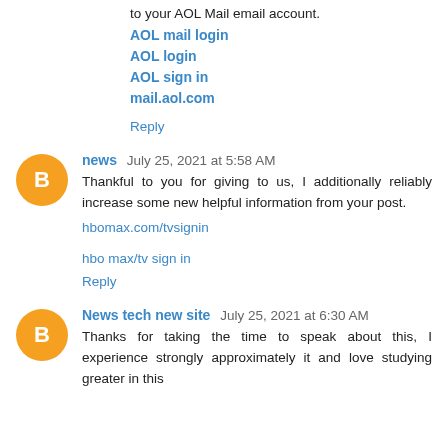to your AOL Mail email account.
AOL mail login
AOL login
AOL sign in
mail.aol.com
Reply
news  July 25, 2021 at 5:58 AM
Thankful to you for giving to us, I additionally reliably increase some new helpful information from your post.
hbomax.com/tvsignin
hbo max/tv sign in
Reply
News tech new site  July 25, 2021 at 6:30 AM
Thanks for taking the time to speak about this, I experience strongly approximately it and love studying greater in this